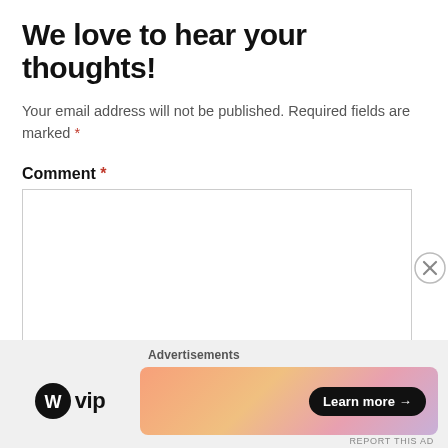We love to hear your thoughts!
Your email address will not be published. Required fields are marked *
Comment *
[Figure (screenshot): Empty comment textarea with border]
[Figure (screenshot): Advertisement bar with WordPress VIP logo and a colorful gradient banner with Learn more button and close X button]